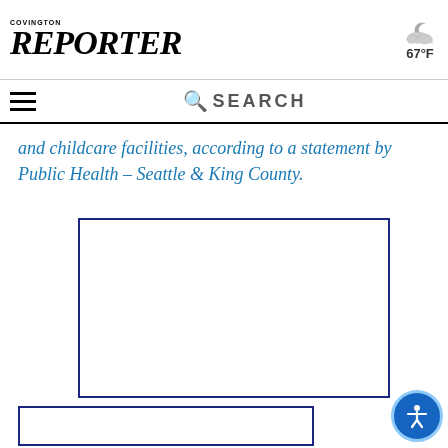COVINGTON REPORTER — 67°F
and childcare facilities, according to a statement by Public Health – Seattle & King County.
[Figure (other): Advertisement placeholder box with dark blue border]
[Figure (other): Advertisement placeholder box with dark blue border at bottom]